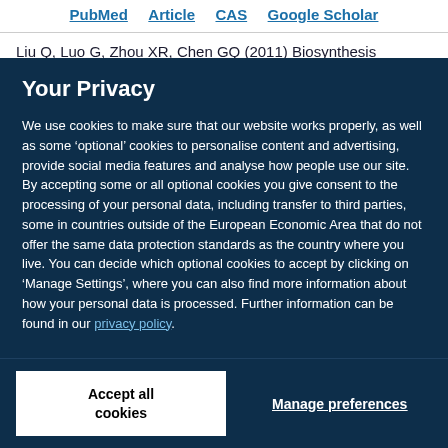PubMed   Article   CAS   Google Scholar
Liu Q, Luo G, Zhou XR, Chen GQ (2011) Biosynthesis
Your Privacy
We use cookies to make sure that our website works properly, as well as some ‘optional’ cookies to personalise content and advertising, provide social media features and analyse how people use our site. By accepting some or all optional cookies you give consent to the processing of your personal data, including transfer to third parties, some in countries outside of the European Economic Area that do not offer the same data protection standards as the country where you live. You can decide which optional cookies to accept by clicking on ‘Manage Settings’, where you can also find more information about how your personal data is processed. Further information can be found in our privacy policy.
Accept all cookies
Manage preferences